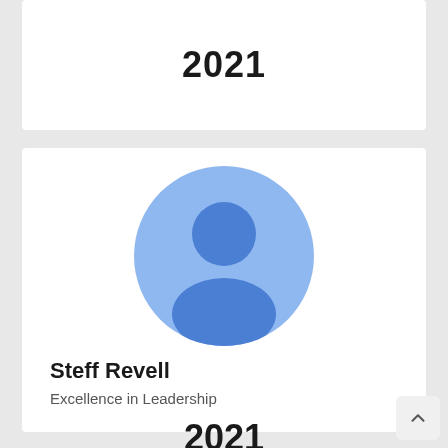2021
[Figure (illustration): Generic user avatar icon: a light blue circle background with a darker blue person silhouette (head circle and body/shoulders shape)]
Steff Revell
Excellence in Leadership
2021